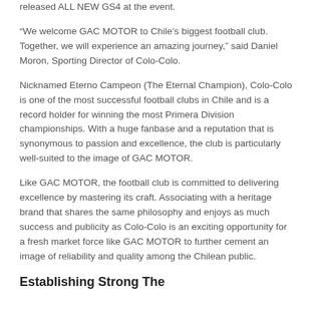released ALL NEW GS4 at the event.
“We welcome GAC MOTOR to Chile’s biggest football club. Together, we will experience an amazing journey,” said Daniel Moron, Sporting Director of Colo-Colo.
Nicknamed Eterno Campeon (The Eternal Champion), Colo-Colo is one of the most successful football clubs in Chile and is a record holder for winning the most Primera Division championships. With a huge fanbase and a reputation that is synonymous to passion and excellence, the club is particularly well-suited to the image of GAC MOTOR.
Like GAC MOTOR, the football club is committed to delivering excellence by mastering its craft. Associating with a heritage brand that shares the same philosophy and enjoys as much success and publicity as Colo-Colo is an exciting opportunity for a fresh market force like GAC MOTOR to further cement an image of reliability and quality among the Chilean public.
Establishing Strong The...